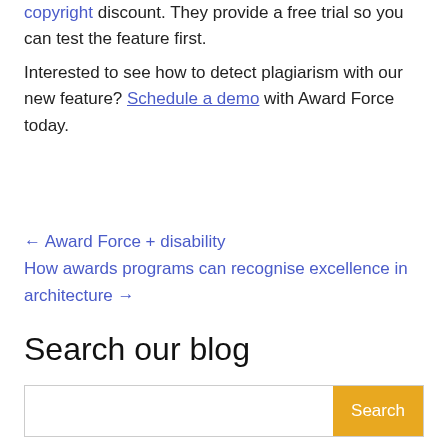copyright discount. They provide a free trial so you can test the feature first.
Interested to see how to detect plagiarism with our new feature? Schedule a demo with Award Force today.
← Award Force + disability
How awards programs can recognise excellence in architecture →
Search our blog